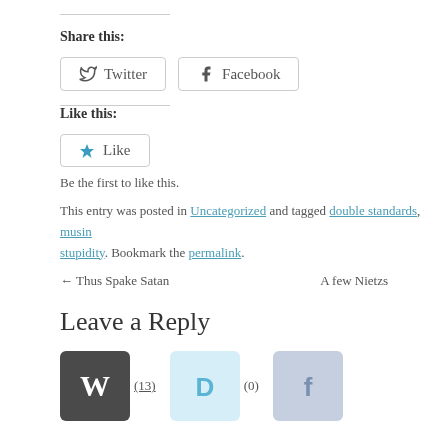Share this:
Twitter  Facebook
Like this:
Like
Be the first to like this.
This entry was posted in Uncategorized and tagged double standards, musin... stupidity. Bookmark the permalink.
← Thus Spake Satan    A few Nietzs...
Leave a Reply
[Figure (other): Comment login icons: WordPress (13), Disqus (0), Facebook]